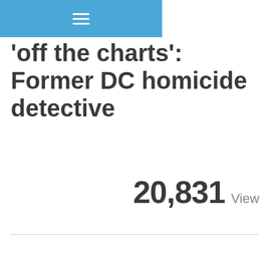≡
'off the charts': Former DC homicide detective
20,831 View